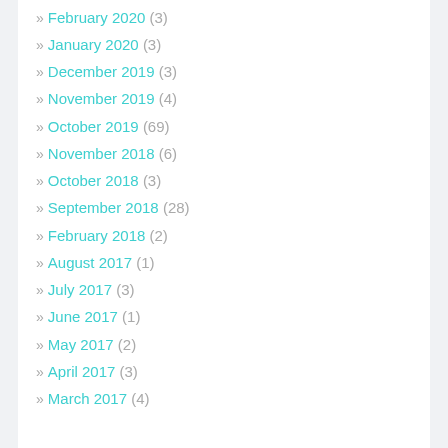» February 2020 (3)
» January 2020 (3)
» December 2019 (3)
» November 2019 (4)
» October 2019 (69)
» November 2018 (6)
» October 2018 (3)
» September 2018 (28)
» February 2018 (2)
» August 2017 (1)
» July 2017 (3)
» June 2017 (1)
» May 2017 (2)
» April 2017 (3)
» March 2017 (4)